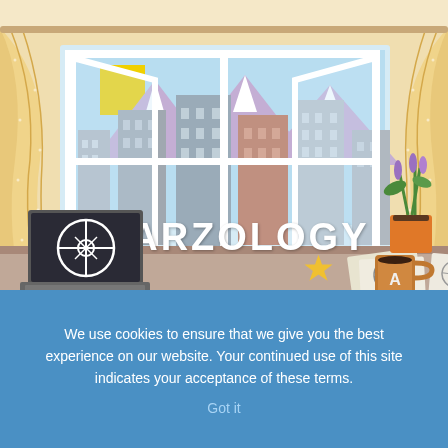[Figure (illustration): Illustrated scene showing a room interior with an open window revealing a cityscape with mountains and sky behind it. Curtains frame the window. A laptop with a compass/crosshair graphic sits on a desk in the lower left. Papers with compass/navigation drawings, a star shape, a mug with 'A' logo, and a potted purple flower are also on the desk. The word 'STARZOLOGY' appears in large white text across the lower portion of the window/scene.]
We use cookies to ensure that we give you the best experience on our website. Your continued use of this site indicates your acceptance of these terms.
Got it